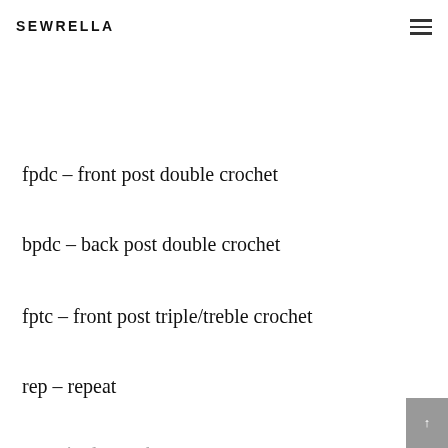SEWRELLA
fpdc – front post double crochet
bpdc – back post double crochet
fptc – front post triple/treble crochet
rep – repeat
sc – single crochet